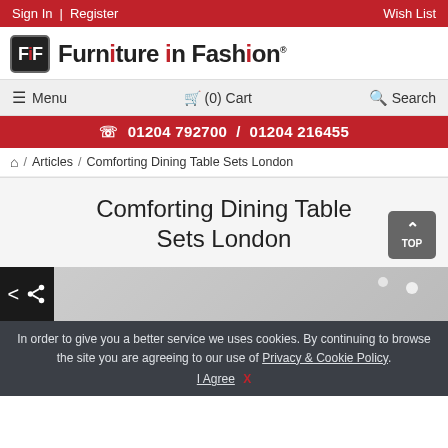Sign In | Register   Wish List
[Figure (logo): Furniture in Fashion logo with FiF icon in black box and brand name text]
Menu   (0) Cart   Search
01204 792700 / 01204 216455
Home / Articles / Comforting Dining Table Sets London
Comforting Dining Table Sets London
[Figure (photo): Partial photo of a dining room interior with share button overlay]
In order to give you a better service we uses cookies. By continuing to browse the site you are agreeing to our use of Privacy & Cookie Policy. I Agree X